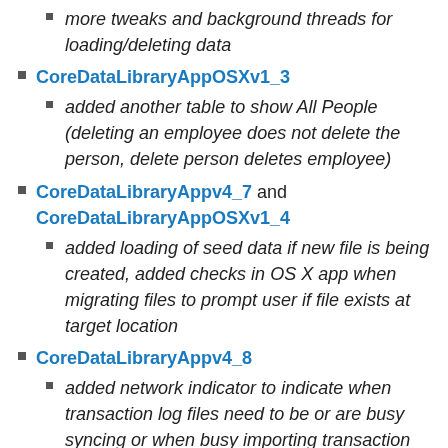more tweaks and background threads for loading/deleting data
CoreDataLibraryAppOSXv1_3
added another table to show All People (deleting an employee does not delete the person, delete person deletes employee)
CoreDataLibraryAppv4_7 and CoreDataLibraryAppOSXv1_4
added loading of seed data if new file is being created, added checks in OS X app when migrating files to prompt user if file exists at target location
CoreDataLibraryAppv4_8
added network indicator to indicate when transaction log files need to be or are busy syncing or when busy importing transaction logs or when running background tasks